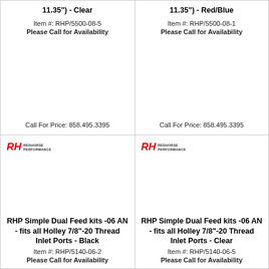11.35") - Clear
Item #: RHP/5500-08-5
Please Call for Availability
Call For Price: 858.495.3395
11.35") - Red/Blue
Item #: RHP/5500-08-1
Please Call for Availability
Call For Price: 858.495.3395
[Figure (logo): Redhorse Performance RH logo - left bottom cell]
RHP Simple Dual Feed kits -06 AN - fits all Holley 7/8"-20 Thread Inlet Ports - Black
Item #: RHP/5140-06-2
Please Call for Availability
[Figure (logo): Redhorse Performance RH logo - right bottom cell]
RHP Simple Dual Feed kits -06 AN - fits all Holley 7/8"-20 Thread Inlet Ports - Clear
Item #: RHP/5140-06-5
Please Call for Availability